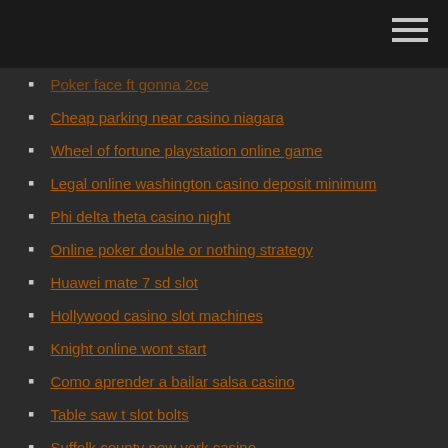Poker face ft gonna 2ce
Cheap parking near casino niagara
Wheel of fortune playstation online game
Legal online washington casino deposit minimum
Phi delta theta casino night
Online poker double or nothing strategy
Huawei mate 7 sd slot
Hollywood casino slot machines
Knight online wont start
Como aprender a bailar salsa casino
Table saw t slot bolts
Suffolk county new york casino
Casino tricks to win roulette
London ontario casino new years eve
How to win money on roulette online